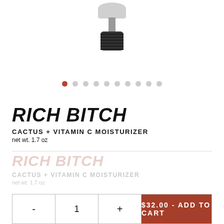[Figure (photo): Partial view of a skincare product bottle/pump dispenser, showing the top portion with a grey pump head and black ribbed base, against a white background.]
● ○ ○ ○ ○ ○ ○ ○ ○ ○ (image carousel dots, first dot active)
RICH BITCH
CACTUS + VITAMIN C MOISTURIZER
net wt. 1.7 oz
RICH BITCH (ghost/faded)
CACTUS + VITAMIN C MOISTURIZER (ghost/faded)
net wt. 1.7 oz (ghost/faded)
$32.00 - ADD TO CART